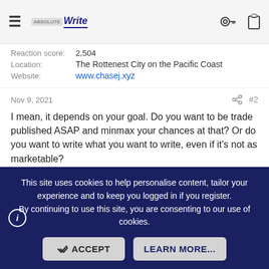AbsoluteWrite navigation bar with logo, hamburger menu, key icon, clipboard icon
Reaction score:   2,504
Location:   The Rottenest City on the Pacific Coast
Website:   www.chasej.xyz
Nov 9, 2021
I mean, it depends on your goal. Do you want to be trade published ASAP and minmax your chances at that? Or do you want to write what you want to write, even if it's not as marketable?
CMBright
Super Member   Registered
Joined:   Aug 23, 2021   Messages:   1,496
This site uses cookies to help personalise content, tailor your experience and to keep you logged in if you register.
By continuing to use this site, you are consenting to our use of cookies.